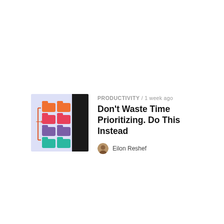[Figure (illustration): Thumbnail illustration showing colorful stacked folder icons (orange, red/pink, purple, teal) arranged in columns on a light lavender background, with a large black rectangle on the right side and a bracket/arrow on the left.]
PRODUCTIVITY / 1 week ago
Don't Waste Time Prioritizing. Do This Instead
Eilon Reshef